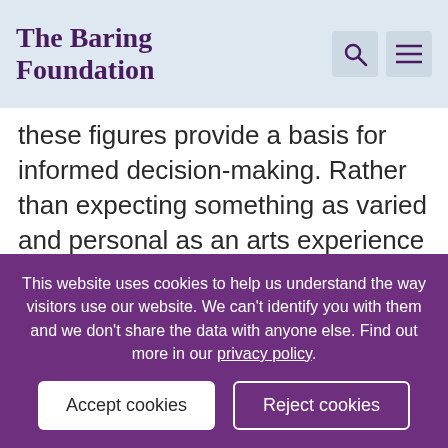The Baring Foundation
these figures provide a basis for informed decision-making. Rather than expecting something as varied and personal as an arts experience to deliver constant, provable results, we should adopt the same model. By looking at the effects of a large number of comparable interventions – say of music
This website uses cookies to help us understand the way visitors use our website. We can't identify you with them and we don't share the data with anyone else. Find out more in our privacy policy.
Accept cookies
Reject cookies